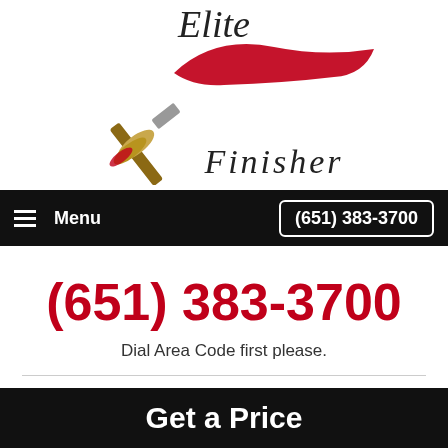[Figure (logo): Elite Finisher logo with paintbrush and red paint stroke, text reads Elite Finisher in serif font]
Menu   (651) 383-3700
(651) 383-3700
Dial Area Code first please.
Get a Price